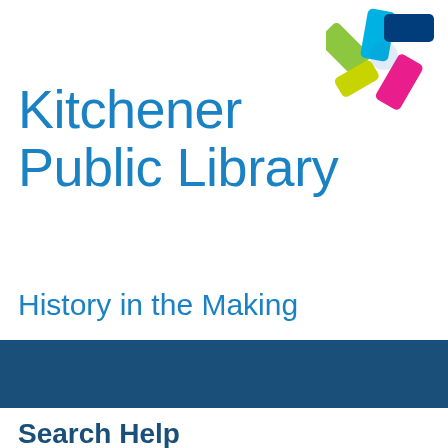[Figure (logo): Kitchener Public Library colorful pinwheel/asterisk logo in top right corner with green, blue, magenta/pink colored rectangular blades]
Kitchener Public Library
History in the Making
[Figure (screenshot): Dark blue navigation bar with a hamburger menu button on the right side]
Search Help